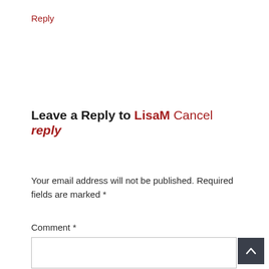Reply
Leave a Reply to LisaM Cancel reply
Your email address will not be published. Required fields are marked *
Comment *